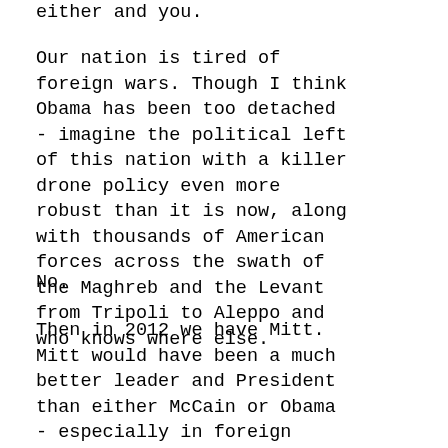either and you.
Our nation is tired of foreign wars. Though I think Obama has been too detached - imagine the political left of this nation with a killer drone policy even more robust than it is now, along with thousands of American forces across the swath of the Maghreb and the Levant from Tripoli to Aleppo and who knows where else.
No.
Then in 2012 we have Mitt. Mitt would have been a much better leader and President than either McCain or Obama - especially in foreign policy - but he would have been the death of the Republican party and be...